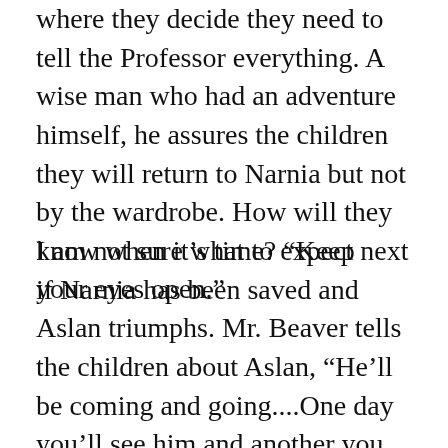where they decide they need to tell the Professor everything. A wise man who had an adventure himself, he assures the children they will return to Narnia but not by the wardrobe. How will they know when it’s time? “Keep your eyes open.”
I am not sure what to expect next if Narnia has been saved and Aslan triumphs. Mr. Beaver tells the children about Aslan, “He’ll be coming and going....One day you’ll see him and another you won’t. He doesn’t like being tied down—and of course he has other countries to attend to. He’ll often drop in. Only you mustn’t press him. He’s wild, you know. Not like a tame lion.” Will I